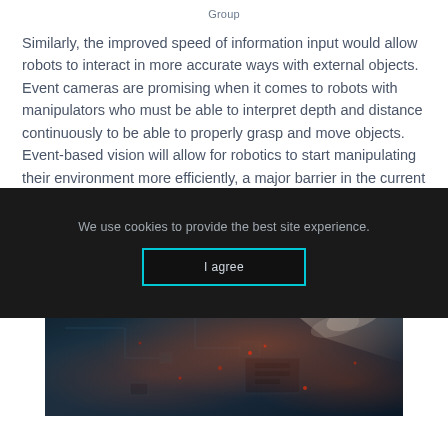Group
Similarly, the improved speed of information input would allow robots to interact in more accurate ways with external objects. Event cameras are promising when it comes to robots with manipulators who must be able to interpret depth and distance continuously to be able to properly grasp and move objects. Event-based vision will allow for robotics to start manipulating their environment more efficiently, a major barrier in the current market.
[Figure (photo): Close-up photo of electronic circuit board or computer hardware with red accent lighting and a hand/arm visible in the upper right portion. Dark teal and black tones dominate with red LED-style illumination.]
We use cookies to provide the best site experience.
I agree